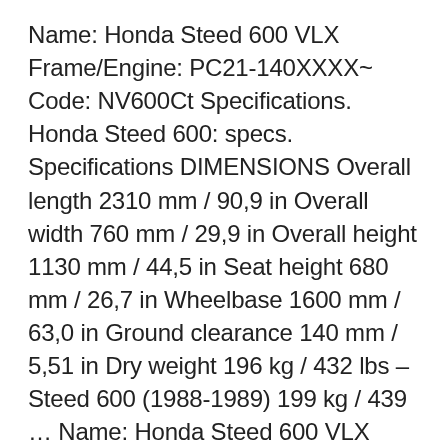Name: Honda Steed 600 VLX Frame/Engine: PC21-140XXXX~ Code: NV600Ct Specifications. Honda Steed 600: specs. Specifications DIMENSIONS Overall length 2310 mm / 90,9 in Overall width 760 mm / 29,9 in Overall height 1130 mm / 44,5 in Seat height 680 mm / 26,7 in Wheelbase 1600 mm / 63,0 in Ground clearance 140 mm / 5,51 in Dry weight 196 kg / 432 lbs – Steed 600 (1988-1989) 199 kg / 439 … Name: Honda Steed 600 VLX Frame/Engine: PC21-140XXXX~ Code: NV600Ct Specifications. Honda Steed 600: specs. Specifications DIMENSIONS Overall length 2310 mm / 90,9 in Overall width 760 mm / 29,9 in Overall height 1130